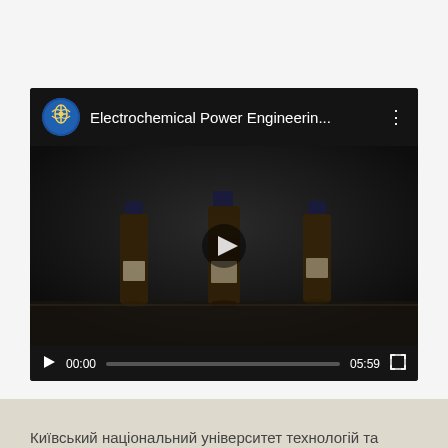[Figure (screenshot): YouTube-style embedded video player showing 'Electrochemical Power Engineerin...' with a channel logo, video thumbnail of dark amber laboratory bottles, play button overlay, progress bar showing 00:00 / 05:59, and fullscreen button.]
Київський національний університет технологій та дизайну (КНУТД)